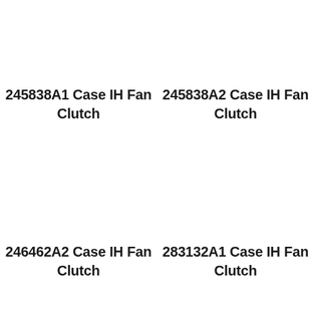245838A1 Case IH Fan Clutch
245838A2 Case IH Fan Clutch
246462A2 Case IH Fan Clutch
283132A1 Case IH Fan Clutch